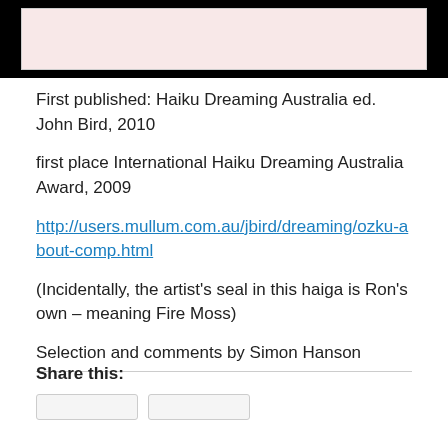[Figure (illustration): A rectangular image area with black border and pink/blush colored interior background, partially visible at top of page.]
First published: Haiku Dreaming Australia ed. John Bird, 2010
first place International Haiku Dreaming Australia Award, 2009
http://users.mullum.com.au/jbird/dreaming/ozku-about-comp.html
(Incidentally, the artist’s seal in this haiga is Ron’s own – meaning Fire Moss)
Selection and comments by Simon Hanson
Share this: